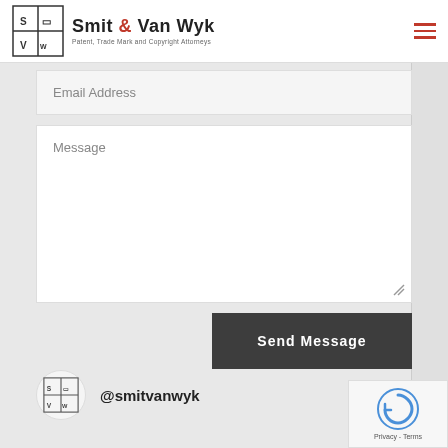Smit & Van Wyk — Patent, Trade Mark and Copyright Attorneys
Email Address
Message
Send Message
@smitvanwyk